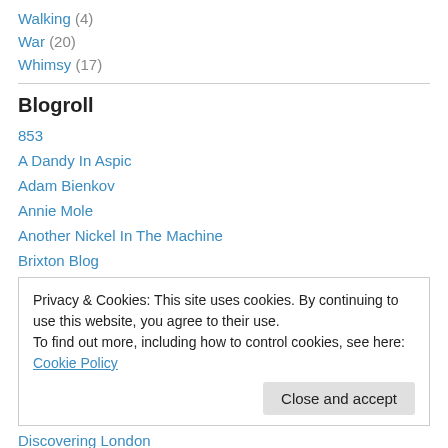Walking (4)
War (20)
Whimsy (17)
Blogroll
853
A Dandy In Aspic
Adam Bienkov
Annie Mole
Another Nickel In The Machine
Brixton Blog
Privacy & Cookies: This site uses cookies. By continuing to use this website, you agree to their use. To find out more, including how to control cookies, see here: Cookie Policy
Discovering London